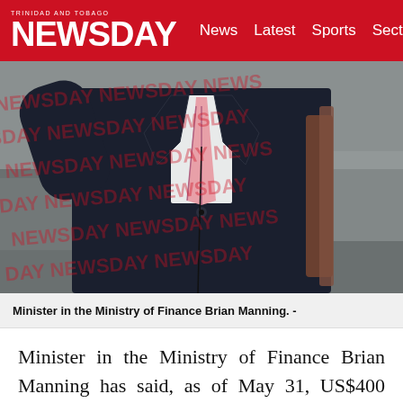TRINIDAD AND TOBAGO NEWSDAY — News Latest Sports Sections
[Figure (photo): A man in a dark navy suit with a pink striped tie, carrying a brown bag, photographed outdoors. Watermarked with 'NEWSDAY' text repeated across the image.]
Minister in the Ministry of Finance Brian Manning. -
Minister in the Ministry of Finance Brian Manning has said, as of May 31, US$400 million